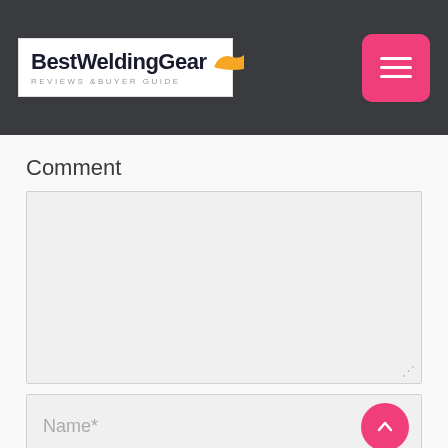BestWeldingGear REVIEWS & BUYER GUIDE
Comment
[Figure (screenshot): Empty comment textarea input field with resize handle at bottom right]
[Figure (screenshot): Name* text input field with pink scroll-to-top arrow button on the right]